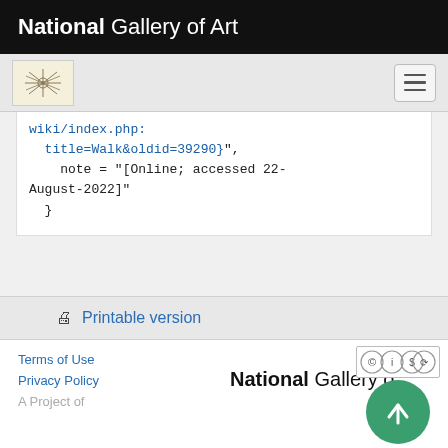National Gallery of Art
[Figure (logo): National Gallery of Art decorative logo in beige box, and hamburger menu icon]
wiki/index.php:
title=Walk&oldid=39290}",
    note = "[Online; accessed 22-August-2022]"
  }
Printable version
Terms of Use
Privacy Policy
A Project of
[Figure (logo): National Gallery of Art logo text footer]
[Figure (logo): Creative Commons license badge and scroll-to-top green button]